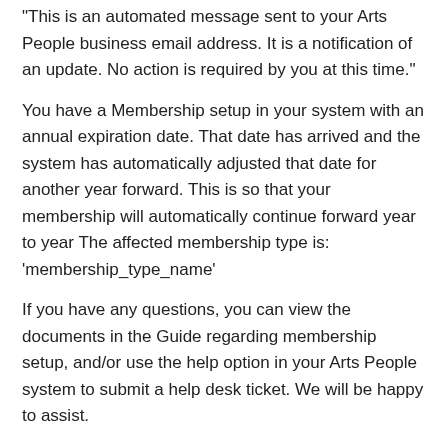"This is an automated message sent to your Arts People business email address. It is a notification of an update. No action is required by you at this time."
You have a Membership setup in your system with an annual expiration date. That date has arrived and the system has automatically adjusted that date for another year forward. This is so that your membership will automatically continue forward year to year The affected membership type is: 'membership_type_name'
If you have any questions, you can view the documents in the Guide regarding membership setup, and/or use the help option in your Arts People system to submit a help desk ticket. We will be happy to assist.
Thanks